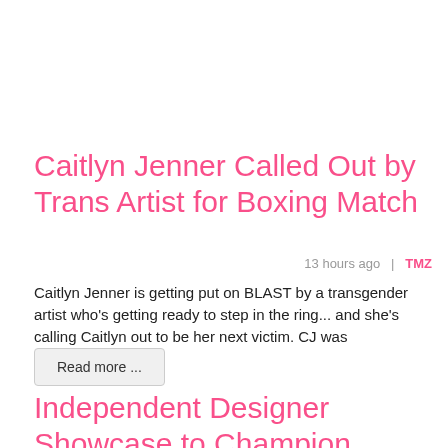Caitlyn Jenner Called Out by Trans Artist for Boxing Match
13 hours ago  |  TMZ
Caitlyn Jenner is getting put on BLAST by a transgender artist who's getting ready to step in the ring... and she's calling Caitlyn out to be her next victim. CJ was challenged...
Read more ...
Independent Designer Showcase to Champion Inclusivity During London Fashion Week 2022